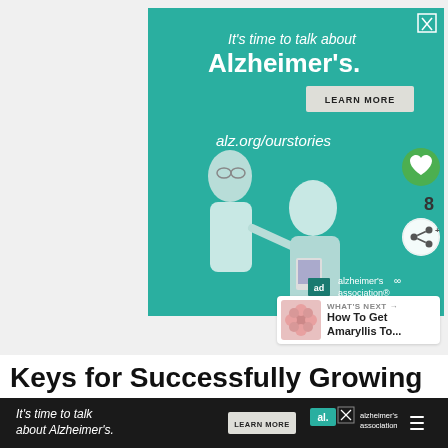[Figure (illustration): Alzheimer's Association advertisement banner with teal background. Large text reads 'It's time to talk about Alzheimer's.' with a Learn More button and alz.org/ourstories URL. Illustration shows two elderly figures, one pointing. Alzheimer's Association logo at bottom right with 'ad' badge.]
8
WHAT'S NEXT → How To Get Amaryllis To...
Keys for Successfully Growing
[Figure (illustration): Bottom ad bar: 'It's time to talk about Alzheimer's.' with Learn More button and Alzheimer's Association logo on dark background.]